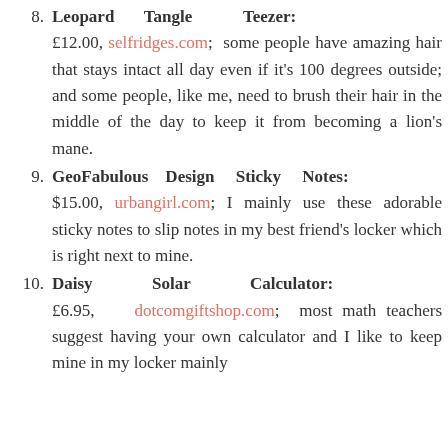Leopard Tangle Teezer: £12.00, selfridges.com; some people have amazing hair that stays intact all day even if it's 100 degrees outside; and some people, like me, need to brush their hair in the middle of the day to keep it from becoming a lion's mane.
GeoFabulous Design Sticky Notes: $15.00, urbangirl.com; I mainly use these adorable sticky notes to slip notes in my best friend's locker which is right next to mine.
Daisy Solar Calculator: £6.95, dotcomgiftshop.com; most math teachers suggest having your own calculator and I like to keep mine in my locker mainly